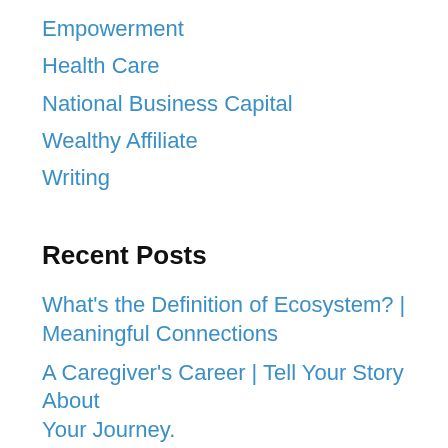Empowerment
Health Care
National Business Capital
Wealthy Affiliate
Writing
Recent Posts
What’s the Definition of Ecosystem? | Meaningful Connections
A Caregiver’s Career | Tell Your Story About Your Journey.
Why Is Keyword Research Important in SEO? | Right Positioning!
Home Health Care Consultants | Office